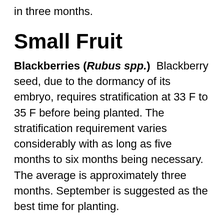in three months.
Small Fruit
Blackberries (Rubus spp.) Blackberry seed, due to the dormancy of its embryo, requires stratification at 33 F to 35 F before being planted. The stratification requirement varies considerably with as long as five months to six months being necessary. The average is approximately three months. September is suggested as the best time for planting.
Treat dry seed with acid for about 30 minutes. Commercial varieties of blackberries are commonly propagated by root cuttings or tip